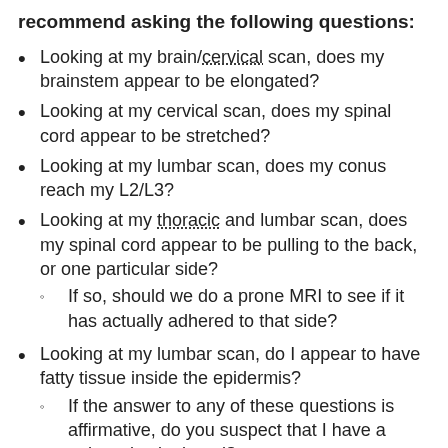recommend asking the following questions:
Looking at my brain/cervical scan, does my brainstem appear to be elongated?
Looking at my cervical scan, does my spinal cord appear to be stretched?
Looking at my lumbar scan, does my conus reach my L2/L3?
Looking at my thoracic and lumbar scan, does my spinal cord appear to be pulling to the back, or one particular side?
If so, should we do a prone MRI to see if it has actually adhered to that side?
Looking at my lumbar scan, do I appear to have fatty tissue inside the epidermis?
If the answer to any of these questions is affirmative, do you suspect that I have a tethered spinal cord?
If so, should we plan for a Tethered Cord